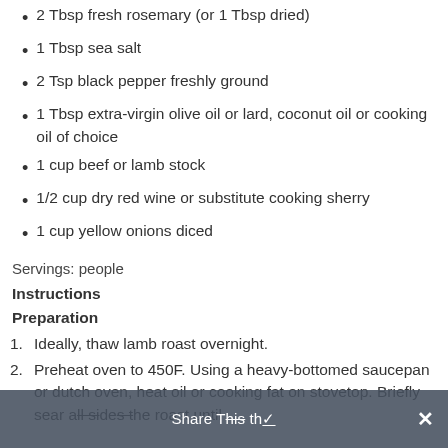2 Tbsp fresh rosemary (or 1 Tbsp dried)
1 Tbsp sea salt
2 Tsp black pepper freshly ground
1 Tbsp extra-virgin olive oil or lard, coconut oil or cooking oil of choice
1 cup beef or lamb stock
1/2 cup dry red wine or substitute cooking sherry
1 cup yellow onions diced
Servings: people
Instructions
Preparation
1. Ideally, thaw lamb roast overnight.
2. Preheat oven to 450F. Using a heavy-bottomed saucepan or dutch oven, heat oil or cooking fat on stovetop. Briefly sear all sides the roast until
Share This ✓